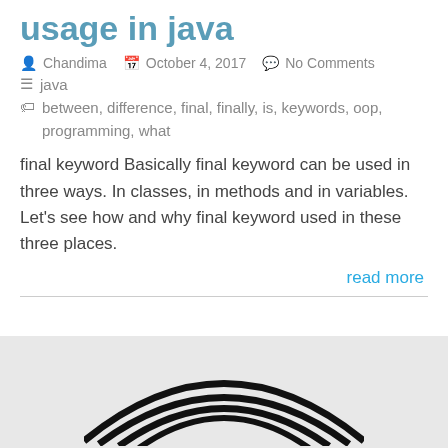usage in java
Chandima   October 4, 2017   No Comments
java
between, difference, final, finally, is, keywords, oop, programming, what
final keyword Basically final keyword can be used in three ways. In classes, in methods and in variables. Let's see how and why final keyword used in these three places.
read more
[Figure (logo): Partial view of a black and white logo with curved lines resembling a hat or dome shape on a gray background]